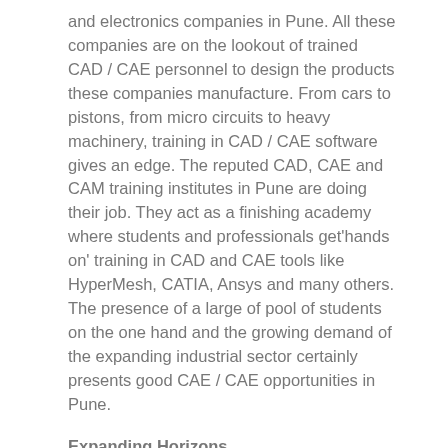and electronics companies in Pune. All these companies are on the lookout of trained CAD / CAE personnel to design the products these companies manufacture. From cars to pistons, from micro circuits to heavy machinery, training in CAD / CAE software gives an edge. The reputed CAD, CAE and CAM training institutes in Pune are doing their job. They act as a finishing academy where students and professionals get'hands on' training in CAD and CAE tools like HyperMesh, CATIA, Ansys and many others. The presence of a large of pool of students on the one hand and the growing demand of the expanding industrial sector certainly presents good CAE / CAE opportunities in Pune.
Expanding Horizons…
As a matter of fact, reputed CAD / CAE training institutes and academies in Pune have opened branches even within the city (Deccan Gymkhana,